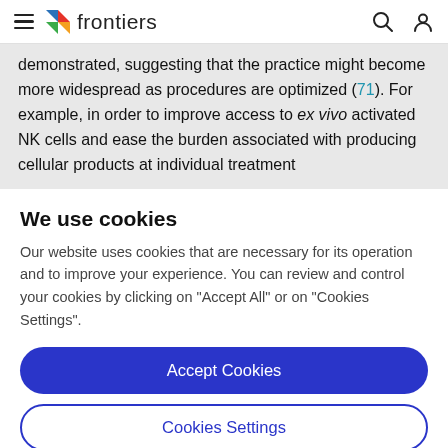frontiers
demonstrated, suggesting that the practice might become more widespread as procedures are optimized (71). For example, in order to improve access to ex vivo activated NK cells and ease the burden associated with producing cellular products at individual treatment
We use cookies
Our website uses cookies that are necessary for its operation and to improve your experience. You can review and control your cookies by clicking on "Accept All" or on "Cookies Settings".
Accept Cookies
Cookies Settings